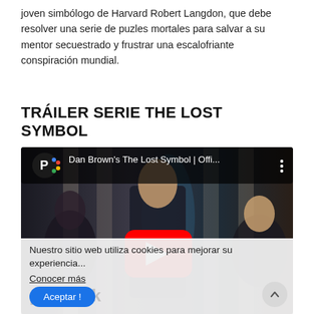joven simbólogo de Harvard Robert Langdon, que debe resolver una serie de puzles mortales para salvar a su mentor secuestrado y frustrar una escalofriante conspiración mundial.
TRÁILER SERIE THE LOST SYMBOL
[Figure (screenshot): YouTube video thumbnail for Dan Brown's The Lost Symbol | Offi... showing three actors in a corridor, with a red YouTube play button overlay. The Peacock streaming logo appears in the top left with colorful dots.]
Nuestro sitio web utiliza cookies para mejorar su experiencia...
Conocer más
Aceptar !